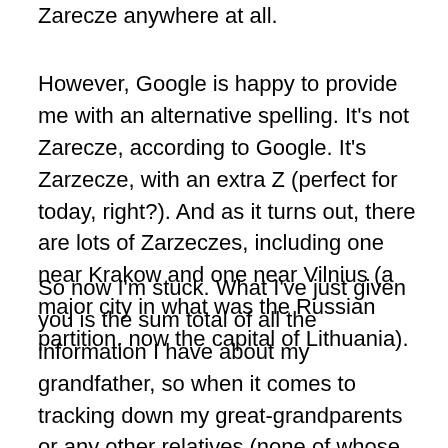Zarecze anywhere at all.
However,  Google is happy to provide me with an alternative spelling.  It's not Zarecze, according to Google.  It's Zarzecze, with an extra Z (perfect for today, right?).  And as it turns out, there are lots of Zarzeczes, including one near Krakow and one near Vilnius (a major city in what was the Russian partition, now the capital of Lithuania).
So now I'm stuck.  What I've just given you is the sum total of all the information I have about my grandfather, so when it comes to tracking down my great-grandparents or any other relatives (none of whose names I know), I'm pretty much looking at a brick wall.  Was he from a town that no longer exists, or was it just spelled wrong?   And if it was actually Zarzecze, then which one?